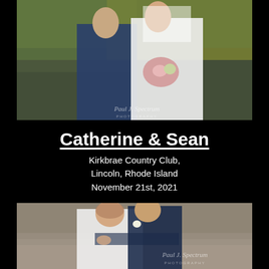[Figure (photo): Wedding couple photo: bride and groom facing each other about to kiss, with autumn foliage background. Bride holds a bouquet. Watermark: Paul J. Spectrum Photography.]
Catherine & Sean
Kirkbrae Country Club, Lincoln, Rhode Island November 21st, 2021
[Figure (photo): Wedding couple photo: bride smiling broadly while groom kisses her cheek from behind with arms wrapped around her. Winter outdoor setting. Watermark: Paul J. Spectrum Photography.]